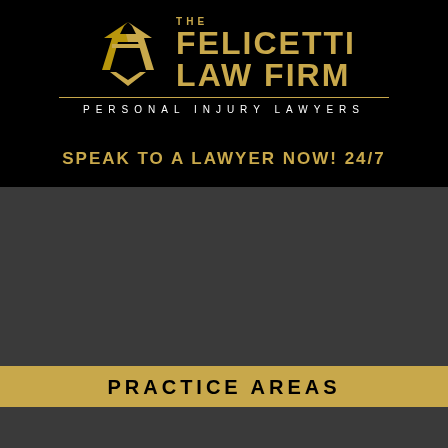[Figure (logo): The Felicetti Law Firm logo with golden F emblem and firm name on black background]
SPEAK TO A LAWYER NOW! 24/7
PRACTICE AREAS